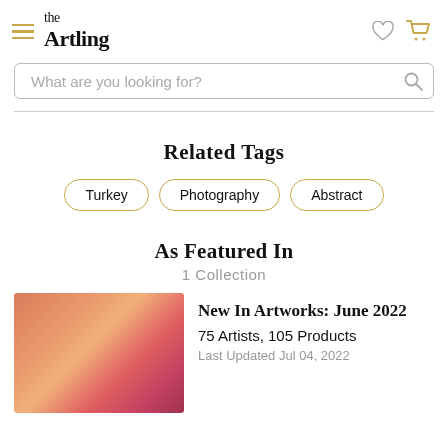the Artling
What are you looking for?
Related Tags
Turkey
Photography
Abstract
As Featured In
1 Collection
[Figure (photo): Collection thumbnail showing a gradient of warm red-orange-pink tones]
New In Artworks: June 2022
75 Artists, 105 Products
Last Updated Jul 04, 2022